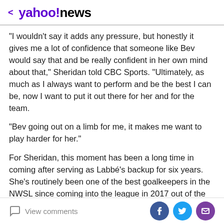< yahoo!news
"I wouldn't say it adds any pressure, but honestly it gives me a lot of confidence that someone like Bev would say that and be really confident in her own mind about that," Sheridan told CBC Sports. "Ultimately, as much as I always want to perform and be the best I can be, now I want to put it out there for her and for the team.
"Bev going out on a limb for me, it makes me want to play harder for her."
For Sheridan, this moment has been a long time in coming after serving as Labbé's backup for six years. She's routinely been one of the best goalkeepers in the NWSL since coming into the league in 2017 out of the
View comments